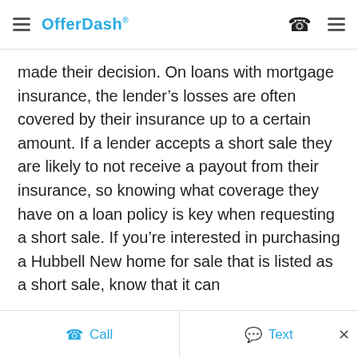OfferDash
made their decision. On loans with mortgage insurance, the lender’s losses are often covered by their insurance up to a certain amount. If a lender accepts a short sale they are likely to not receive a payout from their insurance, so knowing what coverage they have on a loan policy is key when requesting a short sale. If you’re interested in purchasing a Hubbell New home for sale that is listed as a short sale, know that it can
Call   Text